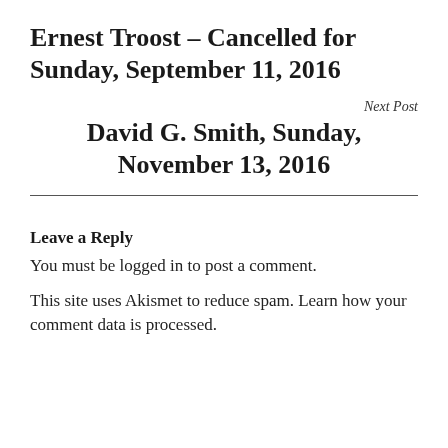Ernest Troost – Cancelled for Sunday, September 11, 2016
Next Post
David G. Smith, Sunday, November 13, 2016
Leave a Reply
You must be logged in to post a comment.
This site uses Akismet to reduce spam. Learn how your comment data is processed.